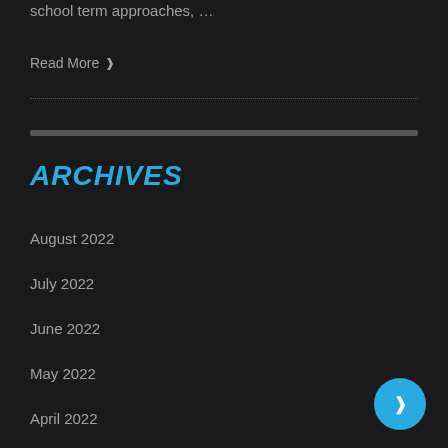school term approaches, …
Read More ❯
ARCHIVES
August 2022
July 2022
June 2022
May 2022
April 2022